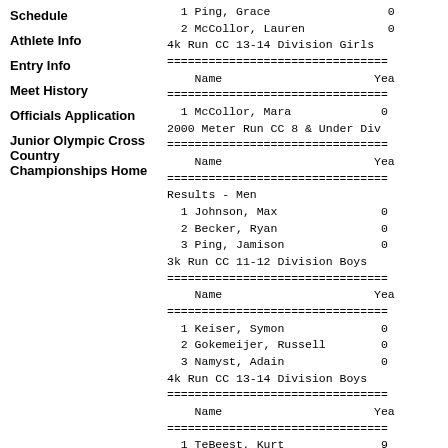Schedule
Athlete Info
Entry Info
Meet History
Officials Application
Junior Olympic Cross Country Championships Home
1 Ping, Grace
2 McCollor, Lauren
4k Run CC 13-14 Division Girls
| Name | Year |
| --- | --- |
| 1 McCollor, Mara |  |
2000 Meter Run CC 8 & Under Div
| Name | Year |
| --- | --- |
| Results - Men |  |
| 1 Johnson, Max |  |
| 2 Becker, Ryan |  |
| 3 Ping, Jamison |  |
3k Run CC 11-12 Division Boys
| Name | Year |
| --- | --- |
| 1 Keiser, Symon |  |
| 2 Gokemeijer, Russell |  |
| 3 Namyst, Adain |  |
4k Run CC 13-14 Division Boys
| Name | Year |
| --- | --- |
| 1 TeBeest, Kurt | 9 |
| 2 Breitbach, Paul | 9 |
| 3 Kartschoke, Nicholas |  |
| 4 Gokemeijer, Willem |  |
| 5 Levin, Ben | 9 |
5k Run CC 15-16 Division Boys